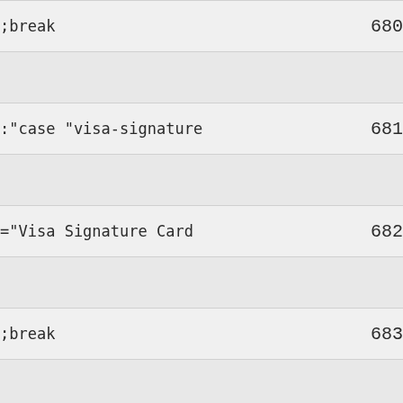| code | line |
| --- | --- |
| ;break | 680 |
|  |  |
| :"case "visa-signature | 681 |
|  |  |
| ="Visa Signature Card | 682 |
|  |  |
| ;break | 683 |
|  |  |
| :default | 684 |
|  |  |
| "product = "All Cards | 685 |
|  |  |
| { | 686 |
|  |  |
|  | 687 |
|  |  |